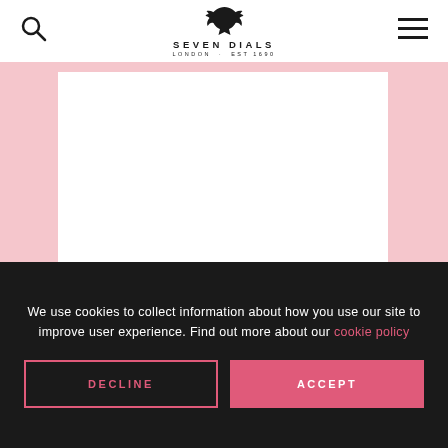SEVEN DIALS LONDON · EST 1690
[Figure (illustration): Seven Dials logo with a winged lion/dragon above text SEVEN DIALS LONDON · EST 1690]
[Figure (illustration): Pink background with a white card/image placeholder in the center]
We use cookies to collect information about how you use our site to improve user experience. Find out more about our cookie policy
DECLINE
ACCEPT